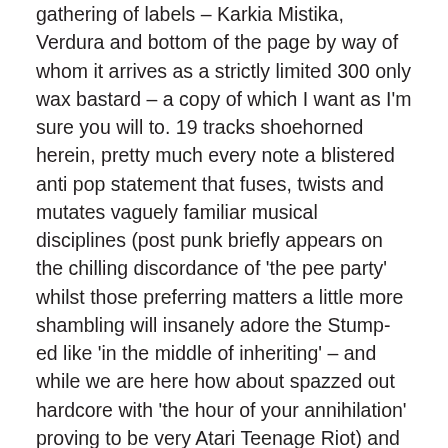gathering of labels – Karkia Mistika, Verdura and bottom of the page by way of whom it arrives as a strictly limited 300 only wax bastard – a copy of which I want as I'm sure you will to. 19 tracks shoehorned herein, pretty much every note a blistered anti pop statement that fuses, twists and mutates vaguely familiar musical disciplines (post punk briefly appears on the chilling discordance of 'the pee party' whilst those preferring matters a little more shambling will insanely adore the Stump-ed like 'in the middle of inheriting' – and while we are here how about spazzed out hardcore with 'the hour of your annihilation' proving to be very Atari Teenage Riot) and mischievously spews them out in what might be best described as a sonic car crash so that you get on one hand you get the stabbing feral art pop agit pop of 'anti locomotive' going toe to toe with the frazzled and fried no jazz squall of the Ayler-ised cranium pummelling 'breakdiscodance' which in